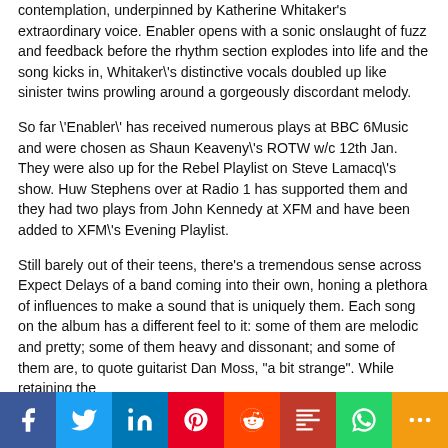contemplation, underpinned by Katherine Whitaker's extraordinary voice. Enabler opens with a sonic onslaught of fuzz and feedback before the rhythm section explodes into life and the song kicks in, Whitaker\'s distinctive vocals doubled up like sinister twins prowling around a gorgeously discordant melody.
So far \'Enabler\' has received numerous plays at BBC 6Music and were chosen as Shaun Keaveny\'s ROTW w/c 12th Jan. They were also up for the Rebel Playlist on Steve Lamacq\'s show. Huw Stephens over at Radio 1 has supported them and they had two plays from John Kennedy at XFM and have been added to XFM\'s Evening Playlist.
Still barely out of their teens, there's a tremendous sense across Expect Delays of a band coming into their own, honing a plethora of influences to make a sound that is uniquely them. Each song on the album has a different feel to it: some of them are melodic and pretty; some of them heavy and dissonant; and some of them are, to quote guitarist Dan Moss, "a bit strange". While retaining the
[Figure (infographic): Social media sharing bar with icons for Facebook, Twitter, LinkedIn, Pinterest, Reddit, Mix, WhatsApp, and More]